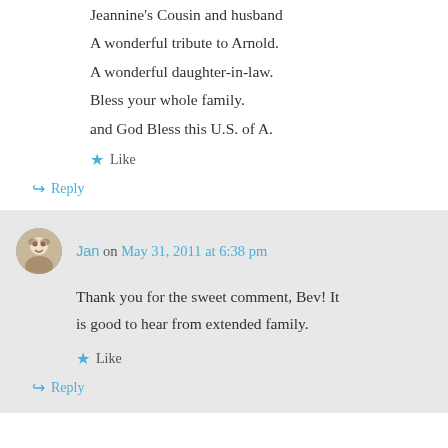Jeannine's Cousin and husband
A wonderful tribute to Arnold.
A wonderful daughter-in-law.
Bless your whole family.
and God Bless this U.S. of A.
★ Like
↪ Reply
Jan on May 31, 2011 at 6:38 pm
Thank you for the sweet comment, Bev! It is good to hear from extended family.
★ Like
↪ Reply